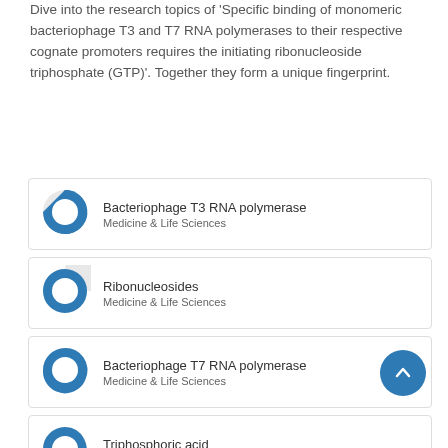Dive into the research topics of 'Specific binding of monomeric bacteriophage T3 and T7 RNA polymerases to their respective cognate promoters requires the initiating ribonucleoside triphosphate (GTP)'. Together they form a unique fingerprint.
Bacteriophage T3 RNA polymerase – Medicine & Life Sciences
Ribonucleosides – Medicine & Life Sciences
Bacteriophage T7 RNA polymerase – Medicine & Life Sciences
Triphosphoric acid – Medicine & Life Sciences
Guanosine Triphosphate – Medicine & Life Sciences